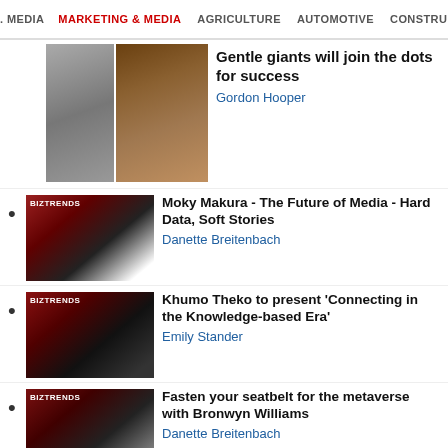MEDIA  MARKETING & MEDIA  AGRICULTURE  AUTOMOTIVE  CONSTRU
Gentle giants will join the dots for success — Gordon Hooper
Moky Makura - The Future of Media - Hard Data, Soft Stories — Danette Breitenbach
Khumo Theko to present 'Connecting in the Knowledge-based Era' — Emily Stander
Fasten your seatbelt for the metaverse with Bronwyn Williams — Danette Breitenbach
Dion Chang's Flux Trend briefing - The State We're In — Evan-Lee Courie